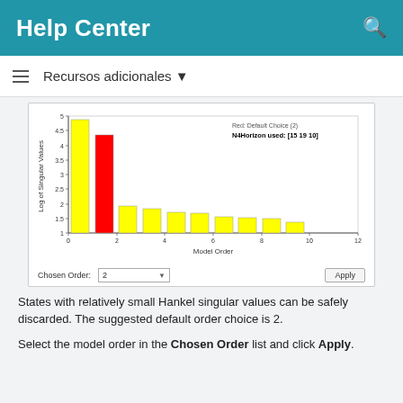Help Center
Recursos adicionales
[Figure (bar-chart): ]
States with relatively small Hankel singular values can be safely discarded. The suggested default order choice is 2.
Select the model order in the Chosen Order list and click Apply.